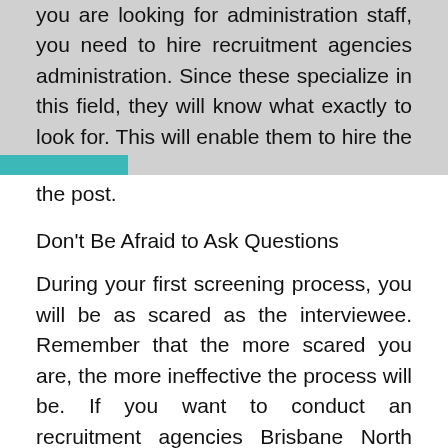you are looking for administration staff, you need to hire recruitment agencies administration. Since these specialize in this field, they will know what exactly to look for. This will enable them to hire the right person for the post.
Don't Be Afraid to Ask Questions
During your first screening process, you will be as scared as the interviewee. Remember that the more scared you are, the more ineffective the process will be. If you want to conduct an recruitment agencies Brisbane North process that will enable you to spot the right person for the job, then you must not be afraid to ask questions. Your company is going to invest in this person on the long run, so you need to know everything about them. Therefore, be bold and shoot your questions.
Take Your Time
You need to conduct this process. Of course, this is